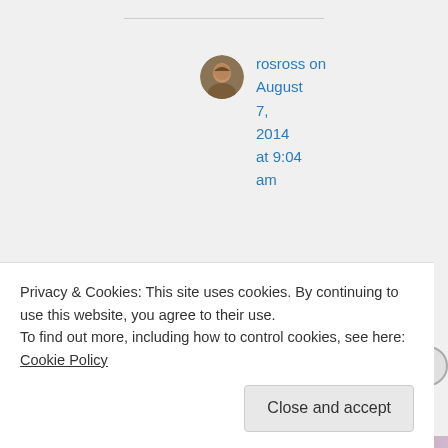rosross on August 7, 2014 at 9:04 am
'good' not goo
Privacy & Cookies: This site uses cookies. By continuing to use this website, you agree to their use.
To find out more, including how to control cookies, see here: Cookie Policy